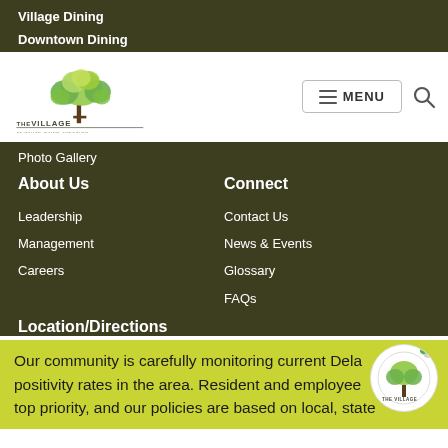Village Dining
Downtown Dining
[Figure (logo): The Village at White River Junction tree logo with green foliage and text branding]
Photo Gallery
About Us
Leadership
Management
Careers
Connect
Contact Us
News & Events
Glossary
FAQs
Location/Directions
Our community is carefully monitoring current Delaware variant positivity rates in the area. Resident and employee safety is our top priority, and our policies are based on local, state